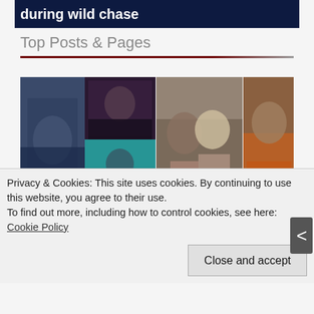during wild chase
Top Posts & Pages
[Figure (photo): Grid of news-related mugshots and personal photos arranged in two rows. Top row left: composite of three photos (man slumped, young heavy man taking selfie, man at podium with SEM text visible). Top row right: composite of two photos (couple with man in plaid shirt and blonde woman, man in orange shirt close-up). Bottom row: partial images cut off.]
Privacy & Cookies: This site uses cookies. By continuing to use this website, you agree to their use.
To find out more, including how to control cookies, see here: Cookie Policy
Close and accept